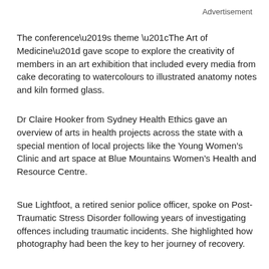Advertisement
The conference’s theme “The Art of Medicine” gave scope to explore the creativity of members in an art exhibition that included every media from cake decorating to watercolours to illustrated anatomy notes and kiln formed glass.
Dr Claire Hooker from Sydney Health Ethics gave an overview of arts in health projects across the state with a special mention of local projects like the Young Women’s Clinic and art space at Blue Mountains Women’s Health and Resource Centre.
Sue Lightfoot, a retired senior police officer, spoke on Post-Traumatic Stress Disorder following years of investigating offences including traumatic incidents. She highlighted how photography had been the key to her journey of recovery.